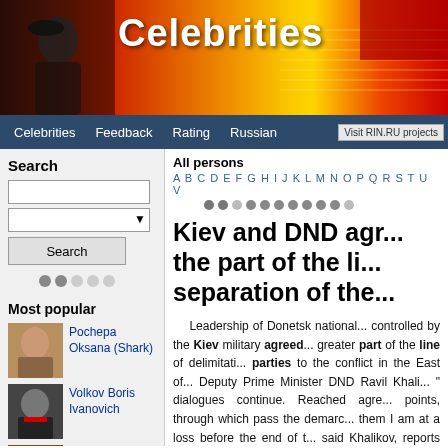[Figure (screenshot): Website header banner with 'Celebrities' text on red/orange/yellow gradient background with silhouette figure on left]
Celebrities | Feedback | Rating | Russian | Visit RIN.RU projects
Search
Most popular
Pochepa Oksana (Shark)
Volkov Boris Ivanovich
Bernardo Bertolucci (Bernardo Bertolucci)
All persons
A B C D E F G H I J K L M N O P Q R S T U V
Kiev and DND agr... the part of the li... separation of the...
Leadership of Donetsk national... controlled by the Kiev military agreed... greater part of the line of delimitati... parties to the conflict in the East of... Deputy Prime Minister DND Ravil Khali... " dialogues continue. Reached agre... points, through which pass the demarc... them I am at a loss before the end of t... said Khalikov, reports TASS. Accordi... must come to a common opinion of... militias." The main thing is that the...